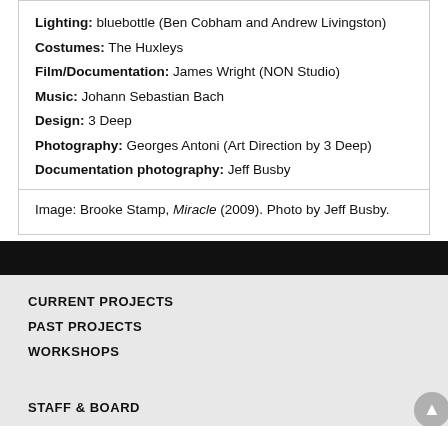Lighting: bluebottle (Ben Cobham and Andrew Livingston)
Costumes: The Huxleys
Film/Documentation: James Wright (NON Studio)
Music: Johann Sebastian Bach
Design: 3 Deep
Photography: Georges Antoni (Art Direction by 3 Deep)
Documentation photography: Jeff Busby
Image: Brooke Stamp, Miracle (2009). Photo by Jeff Busby.
CURRENT PROJECTS
PAST PROJECTS
WORKSHOPS
STAFF & BOARD